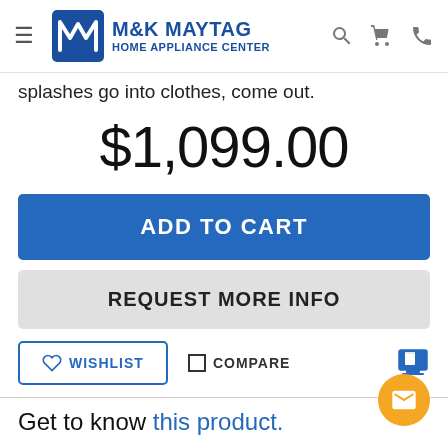M&K MAYTAG HOME APPLIANCE CENTER
splashes go into clothes, come out.
$1,099.00
ADD TO CART
REQUEST MORE INFO
WISHLIST
COMPARE
Get to know this product.